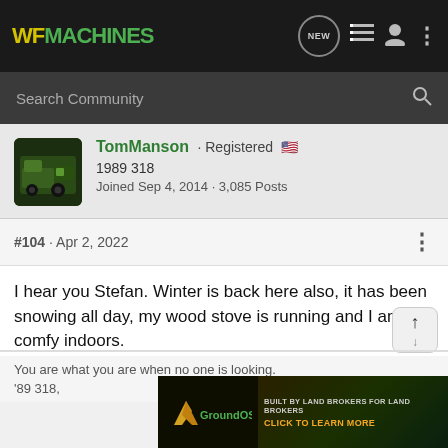WF MACHINES
Search Community
TomManson · Registered 🇺🇸
1989 318
Joined Sep 4, 2014 · 3,085 Posts
#104 · Apr 2, 2022
I hear you Stefan. Winter is back here also, it has been snowing all day, my wood stove is running and I am comfy indoors.
You are what you are when no one is looking.
'89 318,
[Figure (screenshot): GroundOS advertisement banner: Built by Land Brokers for Land Brokers - Click to Learn More]